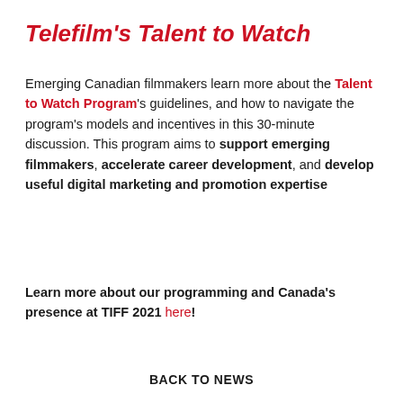Telefilm's Talent to Watch
Emerging Canadian filmmakers learn more about the Talent to Watch Program's guidelines, and how to navigate the program's models and incentives in this 30-minute discussion. This program aims to support emerging filmmakers, accelerate career development, and develop useful digital marketing and promotion expertise
Learn more about our programming and Canada's presence at TIFF 2021 here!
BACK TO NEWS